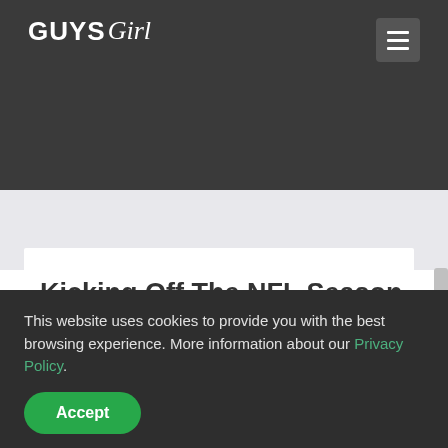GUYS Girl
Kicking Off The NFL Season With Week 1 Power Rankings
This website uses cookies to provide you with the best browsing experience. More information about our Privacy Policy.
Accept